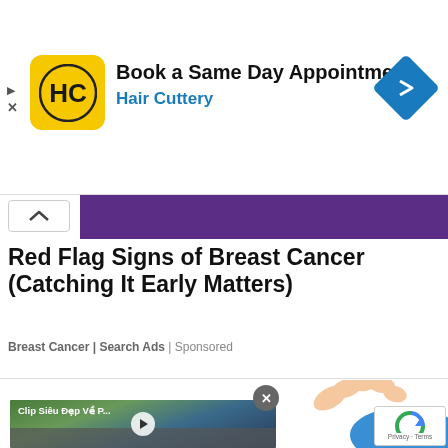[Figure (screenshot): Hair Cuttery advertisement banner with logo, 'Book a Same Day Appointment' text, and navigation icon]
[Figure (screenshot): Purple strip with collapse arrow button on left]
Red Flag Signs of Breast Cancer (Catching It Early Matters)
Breast Cancer | Search Ads | Sponsored
[Figure (screenshot): Video thumbnail showing 'Clip Siêu Đẹp Về P...' with play button, overlaid with animated character illustration. Close button (X) and reCAPTCHA Privacy-Terms badge visible.]